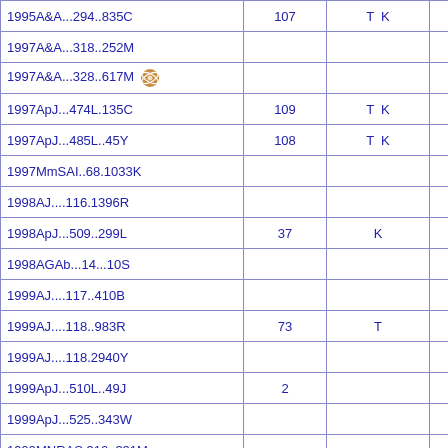| Reference | Col2 | Col3 | Col4 |
| --- | --- | --- | --- |
| 1995A&A...294..835C | 107 | T K |  |
| 1997A&A...318..252M |  |  |  |
| 1997A&A...328..617M [icon] |  |  |  |
| 1997ApJ...474L.135C | 109 | T K |  |
| 1997ApJ...485L..45Y | 108 | T K |  |
| 1997MmSAI..68.1033K |  |  |  |
| 1998AJ....116.1396R |  |  |  |
| 1998ApJ...509..299L | 37 | K |  |
| 1998AGAb...14...10S |  |  |  |
| 1999AJ....117..410B |  |  |  |
| 1999AJ....118..983R | 73 | T |  |
| 1999AJ....118.2940Y |  |  |  |
| 1999ApJ...510L..49J | 2 |  |  |
| 1999ApJ...525..343W |  |  |  |
| 1999MNRAS.310..331M |  |  |  |
| 2000A&A...358..257N [icon] |  |  |  |
| 2000A&A...359..347D [icon] |  |  |  |
| 2000A&AS..144..441N [icon] |  |  |  |